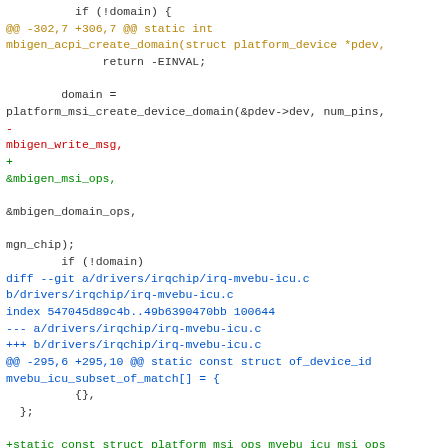[Figure (screenshot): A git diff code snippet showing changes to Linux kernel drivers. The diff includes modifications to mbigen_acpi_create_domain function and irq-mvebu-icu.c driver file, with removed lines in red and added lines in green, context lines in dark/amber colors.]